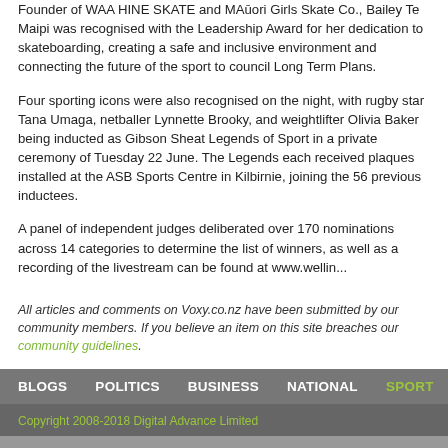Founder of WAA HINE SKATE and Maori Girls Skate Co., Bailey Te Maipi was recognised with the Leadership Award for her dedication to skateboarding, creating a safe and inclusive environment and connecting the future of the sport to council Long Term Plans.
Four sporting icons were also recognised on the night, with rugby star Tana Umaga, netballer Lynnette Brooky, and weightlifter Olivia Baker being inducted as Gibson Sheat Legends of Sport in a private ceremony of Tuesday 22 June. The Legends each received plaques installed at the ASB Sports Centre in Kilbirnie, joining the 56 previous inductees.
A panel of independent judges deliberated over 170 nominations across 14 categories to determine the list of winners, as well as a recording of the livestream can be found at www.wellin...
All articles and comments on Voxy.co.nz have been submitted by our community members. If you believe an item on this site breaches our community guidelines.
BLOGS   POLITICS   BUSINESS   NATIONAL   SPORT   ENTERT...   Copyright 2008-2018 Digital Advance Limited